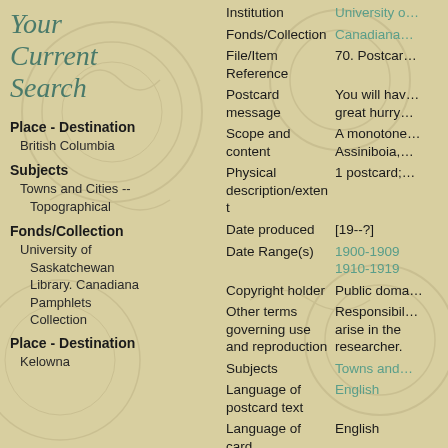Your Current Search
Place - Destination
British Columbia
Subjects
Towns and Cities -- Topographical
Fonds/Collection
University of Saskatchewan Library. Canadiana Pamphlets Collection
Place - Destination
Kelowna
| Field | Value |
| --- | --- |
| Institution | University o… |
| Fonds/Collection | Canadiana… |
| File/Item Reference | 70. Postcar… |
| Postcard message | You will hav… great hurry… |
| Scope and content | A monotone… Assiniboia,… |
| Physical description/extent | 1 postcard;… |
| Date produced | [19--?] |
| Date Range(s) | 1900-1909 1910-1919 |
| Copyright holder | Public doma… |
| Other terms governing use and reproduction | Responsibil… arise in the… researcher. |
| Subjects | Towns and… |
| Language of postcard text | English |
| Language of card | English |
| Postcard style | divided bac… |
| Postcard media | real photog… |